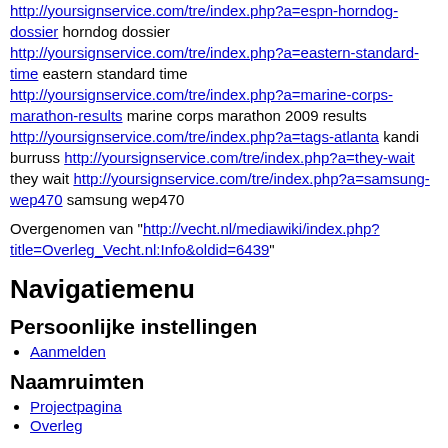http://yoursignservice.com/tre/index.php?a=espn-horndog-dossier horndog dossier http://yoursignservice.com/tre/index.php?a=eastern-standard-time eastern standard time http://yoursignservice.com/tre/index.php?a=marine-corps-marathon-results marine corps marathon 2009 results http://yoursignservice.com/tre/index.php?a=tags-atlanta kandi burruss http://yoursignservice.com/tre/index.php?a=they-wait they wait http://yoursignservice.com/tre/index.php?a=samsung-wep470 samsung wep470
Overgenomen van "http://vecht.nl/mediawiki/index.php?title=Overleg_Vecht.nl:Info&oldid=6439"
Navigatiemenu
Persoonlijke instellingen
Aanmelden
Naamruimten
Projectpagina
Overleg